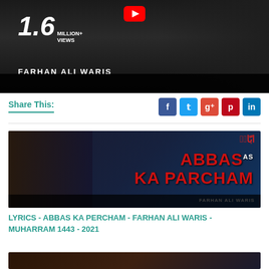[Figure (screenshot): YouTube video thumbnail showing 1.6 MILLION+ VIEWS text with FARHAN ALI WARIS artist name on dark background]
Share This:
[Figure (screenshot): Video thumbnail for Abbas Ka Parcham - Farhan Ali Waris with red text ABBAS AS KA PARCHAM on dark background with singer image]
LYRICS - ABBAS KA PERCHAM - FARHAN ALI WARIS - MUHARRAM 1443 - 2021
[Figure (screenshot): Partial view of another video thumbnail at bottom of page]